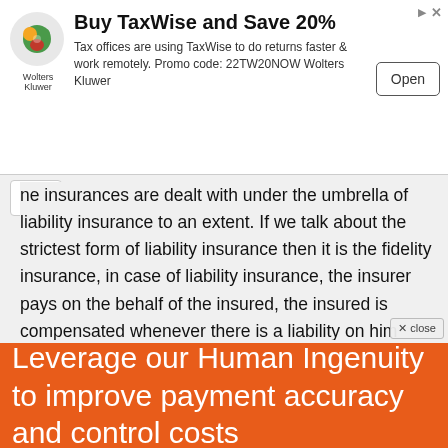[Figure (screenshot): Wolters Kluwer advertisement banner: Buy TaxWise and Save 20% with Open button]
ne insurances are dealt with under the umbrella of liability insurance to an extent. If we talk about the strictest form of liability insurance then it is the fidelity insurance, in case of liability insurance, the insurer pays on the behalf of the insured, the insured is compensated whenever there is a liability on him such as payment to a third party.
Liability Insurance:
As we have mentioned above that the liability insurance is the general insurance, where you have this guarantee that
Leverage our Human Ingenuity to improve payment accuracy and control costs